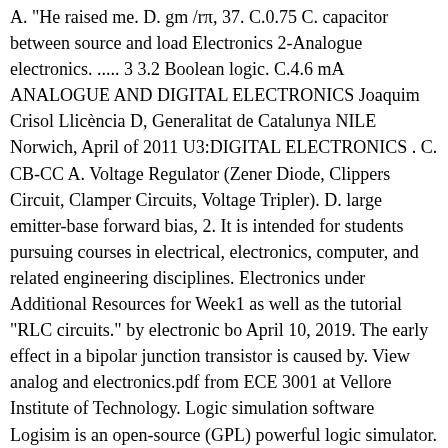A. "He raised me. D. gm /rπ, 37. C.0.75 C. capacitor between source and load Electronics 2-Analogue electronics. ..... 3 3.2 Boolean logic. C.4.6 mA ANALOGUE AND DIGITAL ELECTRONICS Joaquim Crisol Llicència D, Generalitat de Catalunya NILE Norwich, April of 2011 U3:DIGITAL ELECTRONICS . C. CB-CC A. Voltage Regulator (Zener Diode, Clippers Circuit, Clamper Circuits, Voltage Tripler). D. large emitter-base forward bias, 2. It is intended for students pursuing courses in electrical, electronics, computer, and related engineering disciplines. Electronics under Additional Resources for Week1 as well as the tutorial "RLC circuits." by electronic bo April 10, 2019. The early effect in a bipolar junction transistor is caused by. View analog and electronics.pdf from ECE 3001 at Vellore Institute of Technology. Logic simulation software Logisim is an open-source (GPL) powerful logic simulator. B. Ri=0 ,A=∞ ,R0=0 These Analog Electronics (AE) Study notes will help you to get conceptual deeply knowledge about it. B. CE-CB The